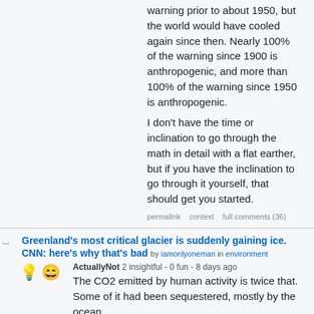warning prior to about 1950, but the world would have cooled again since then. Nearly 100% of the warning since 1900 is anthropogenic, and more than 100% of the warning since 1950 is anthropogenic.
I don't have the time or inclination to go through the math in detail with a flat earther, but if you have the inclination to go through it yourself, that should get you started.
permalink   context   full comments (36)
Greenland's most critical glacier is suddenly gaining ice. CNN: here's why that's bad   by iamonlyoneman in environment
ActuallyNot 2 insightful - 0 fun - 8 days ago
The CO2 emitted by human activity is twice that. Some of it had been sequestered, mostly by the ocean.
But if you can prove that wrong, go ahead.
We both know you can't, don't we.
permalink   context   full comments (36)
Greenland's most critical glacier is suddenly gaining ice. CNN: here's why that's bad   by iamonlyoneman in environment
ActuallyNot 2 insightful - 0 fun - 8 days ago